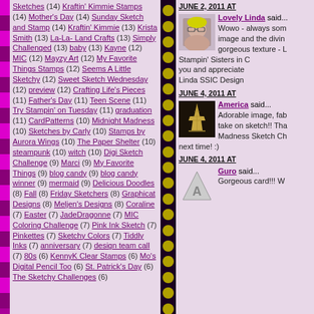Sketches (14) Kraftin' Kimmie Stamps (14) Mother's Day (14) Sunday Sketch and Stamp (14) Kraftin' Kimmie (13) Krista Smith (13) La-La-Land Crafts (13) Simply Challenged (13) baby (13) Kayne (12) MIC (12) Mayzy Art (12) My Favorite Things Stamps (12) Seems A Little Sketchy (12) Sweet Sketch Wednesday (12) preview (12) Crafting Life's Pieces (11) Father's Day (11) Teen Scene (11) Try Stampin' on Tuesday (11) graduation (11) CardPatterns (10) Midnight Madness (10) Sketches by Carly (10) Stamps by Aurora Wings (10) The Paper Shelter (10) steampunk (10) witch (10) Digi Sketch Challenge (9) Marci (9) My Favorite Things (9) blog candy (9) blog candy winner (9) mermaid (9) Delicious Doodles (8) Fall (8) Friday Sketchers (8) Graphicat Designs (8) Meljen's Designs (8) Coraline (7) Easter (7) JadeDragonne (7) MIC Coloring Challenge (7) Pink Ink Sketch (7) Pinkettes (7) Sketchy Colors (7) Tiddly Inks (7) anniversary (7) design team call (7) 80s (6) KennyK Clear Stamps (6) Mo's Digital Pencil Too (6) St. Patrick's Day (6) The Sketchy Challenges (6)
JUNE 2, 2011 AT
Lovely Linda said...
Wowo - always some image and the divin gorgeous texture - L Stampin' Sisters in C you and appreciate Linda SSIC Design
JUNE 4, 2011 AT
America said...
Adorable image, fab take on sketch!! Tha Madness Sketch Ch next time! :)
JUNE 4, 2011 AT
Guro said...
Gorgeous card!!! W